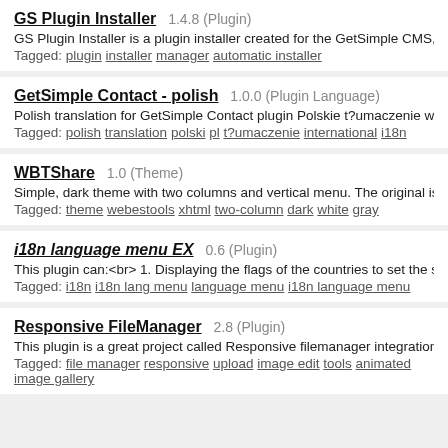GS Plugin Installer  1.4.8 (Plugin)
GS Plugin Installer is a plugin installer created for the GetSimple CMS, versions 3.3.x, It ha
Tagged: plugin installer manager automatic installer
GetSimple Contact - polish  1.0.0 (Plugin Language)
Polish translation for GetSimple Contact plugin Polskie t?umaczenie wtyczki GetSimple Co
Tagged: polish translation polski pl t?umaczenie international i18n
WBTShare  1.0 (Theme)
Simple, dark theme with two columns and vertical menu. The original is made by...
Tagged: theme webestools xhtml two-column dark white gray
i18n language menu EX  0.6 (Plugin)
This plugin can:<br> 1. Displaying the flags of the countries to set the system language, w
Tagged: i18n i18n lang menu language menu i18n language menu
Responsive FileManager  2.8 (Plugin)
This plugin is a great project called Responsive filemanager integration into GetSimple CM
Tagged: file manager responsive upload image edit tools animated image gallery